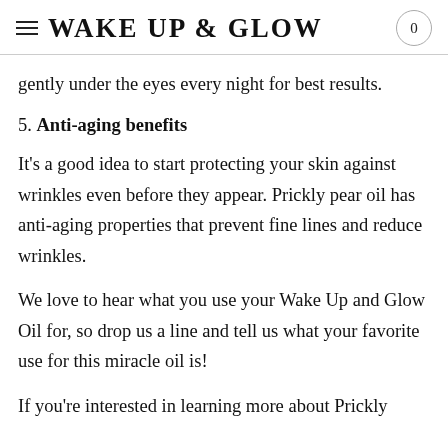WAKE UP & GLOW 0
gently under the eyes every night for best results.
5. Anti-aging benefits
It's a good idea to start protecting your skin against wrinkles even before they appear. Prickly pear oil has anti-aging properties that prevent fine lines and reduce wrinkles.
We love to hear what you use your Wake Up and Glow Oil for, so drop us a line and tell us what your favorite use for this miracle oil is!
If you're interested in learning more about Prickly